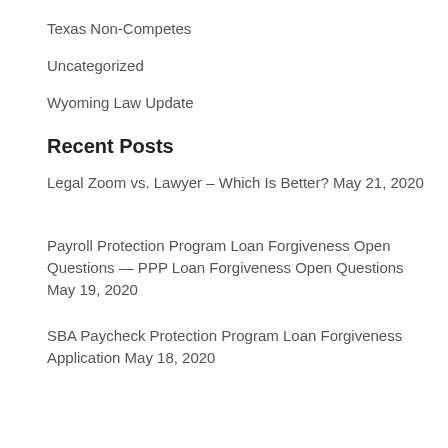Texas Non-Competes
Uncategorized
Wyoming Law Update
Recent Posts
Legal Zoom vs. Lawyer – Which Is Better? May 21, 2020
Payroll Protection Program Loan Forgiveness Open Questions — PPP Loan Forgiveness Open Questions May 19, 2020
SBA Paycheck Protection Program Loan Forgiveness Application May 18, 2020